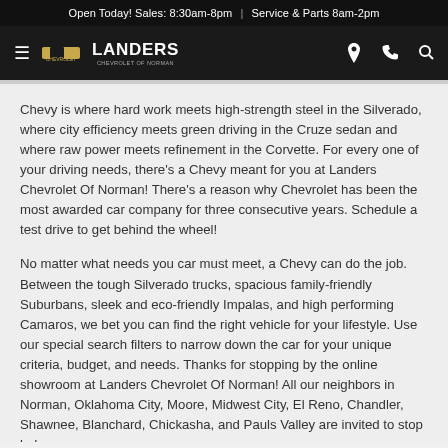Open Today! Sales: 8:30am-8pm | Service & Parts 8am-2pm
[Figure (logo): Landers Chevrolet of Norman navigation bar with hamburger menu, Chevrolet bowtie logo, Landers wordmark, and location/phone/search icons]
Chevy is where hard work meets high-strength steel in the Silverado, where city efficiency meets green driving in the Cruze sedan and where raw power meets refinement in the Corvette. For every one of your driving needs, there's a Chevy meant for you at Landers Chevrolet Of Norman! There's a reason why Chevrolet has been the most awarded car company for three consecutive years. Schedule a test drive to get behind the wheel!
No matter what needs you car must meet, a Chevy can do the job. Between the tough Silverado trucks, spacious family-friendly Suburbans, sleek and eco-friendly Impalas, and high performing Camaros, we bet you can find the right vehicle for your lifestyle. Use our special search filters to narrow down the car for your unique criteria, budget, and needs. Thanks for stopping by the online showroom at Landers Chevrolet Of Norman! All our neighbors in Norman, Oklahoma City, Moore, Midwest City, El Reno, Chandler, Shawnee, Blanchard, Chickasha, and Pauls Valley are invited to stop by!